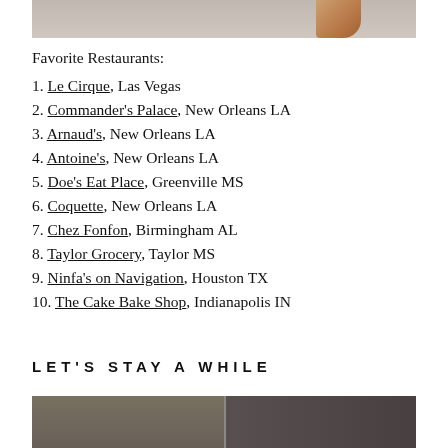[Figure (photo): Partial view of a food photo, showing the top edge with a fried or breaded food item against a light background]
Favorite Restaurants:
1. Le Cirque, Las Vegas
2. Commander's Palace, New Orleans LA
3. Arnaud's, New Orleans LA
4. Antoine's, New Orleans LA
5. Doe's Eat Place, Greenville MS
6. Coquette, New Orleans LA
7. Chez Fonfon, Birmingham AL
8. Taylor Grocery, Taylor MS
9. Ninfa's on Navigation, Houston TX
10. The Cake Bake Shop, Indianapolis IN
LET'S STAY A WHILE
[Figure (photo): Split photo showing two scenes: left side appears to show a decorative or food item, right side shows what appears to be a bathroom or interior room with dark tones]